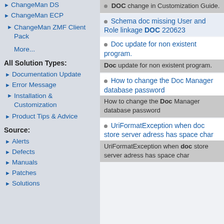ChangeMan DS
ChangeMan ECP
ChangeMan ZMF Client Pack
More...
All Solution Types:
Documentation Update
Error Message
Installation & Customization
Product Tips & Advice
Source:
Alerts
Defects
Manuals
Patches
Solutions
DOC change in Customization Guide.
Schema doc missing User and Role linkage DOC 220623
Doc update for non existent program. Doc update for non existent program.
How to change the Doc Manager database password. How to change the Doc Manager database password
UriFormatException when doc store server adress has space char. UriFormatException when doc store server adress has space char